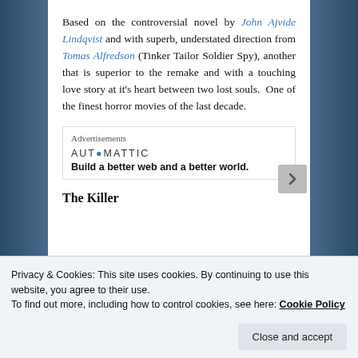Based on the controversial novel by John Ajvide Lindqvist and with superb, understated direction from Tomas Alfredson (Tinker Tailor Soldier Spy), another that is superior to the remake and with a touching love story at it's heart between two lost souls.  One of the finest horror movies of the last decade.
[Figure (other): Automattic advertisement: logo text 'AUT*MATTIC' with a blue dot/circle on the letter O, tagline 'Build a better web and a better world.']
The Killer
Privacy & Cookies: This site uses cookies. By continuing to use this website, you agree to their use.
To find out more, including how to control cookies, see here: Cookie Policy